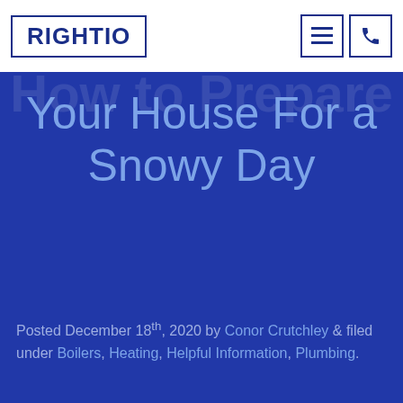RIGHTIO
How to Prepare Your House For a Snowy Day
Posted December 18th, 2020 by Conor Crutchley & filed under Boilers, Heating, Helpful Information, Plumbing.